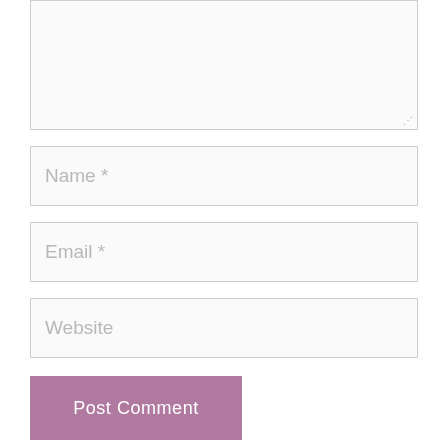[Figure (screenshot): Textarea input box (comment field), partially visible, with resize handle at bottom-right corner]
[Figure (screenshot): Text input field with placeholder text 'Name *']
[Figure (screenshot): Text input field with placeholder text 'Email *']
[Figure (screenshot): Text input field with placeholder text 'Website']
[Figure (screenshot): Submit button labeled 'Post Comment' in mauve/purple color]